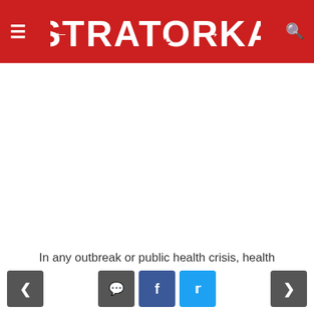STRATORKA
[Figure (other): Large blank white advertisement space below the header]
In any outbreak or public health crisis, health
Navigation bar with back, comment, facebook, twitter, and forward buttons